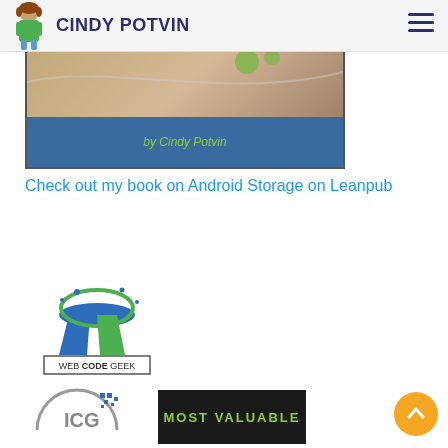CINDY POTVIN
[Figure (photo): Book cover image showing Android Storage book by Cindy Potvin on a blue background with the text 'by Cindy Potvin' in green]
Check out my book on Android Storage on Leanpub
[Figure (logo): Web Code Geek logo - blue and green design with mushroom/disc shape and text 'WEB CODE GEEK' below]
[Figure (logo): ICG logo - grey circular design with blue pixel dots]
[Figure (logo): Most Valuable badge - dark background with green text 'MOST VALUABLE']